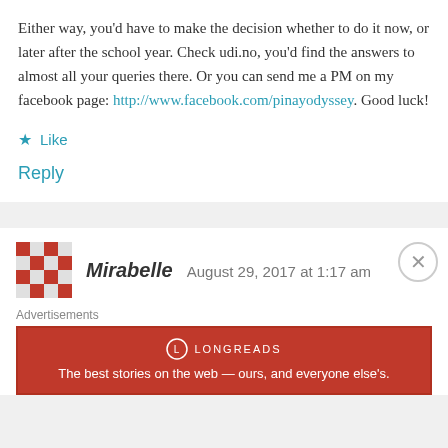Either way, you'd have to make the decision whether to do it now, or later after the school year. Check udi.no, you'd find the answers to almost all your queries there. Or you can send me a PM on my facebook page: http://www.facebook.com/pinayodyssey. Good luck!
★ Like
Reply
Mirabelle  August 29, 2017 at 1:17 am
Advertisements
LONGREADS
The best stories on the web — ours, and everyone else's.